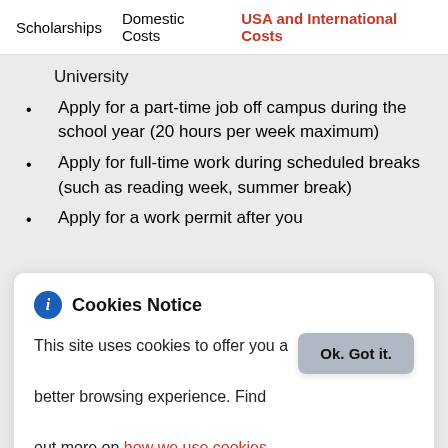Scholarships   Domestic Costs   USA and International Costs
University
Apply for a part-time job off campus during the school year (20 hours per week maximum)
Apply for full-time work during scheduled breaks (such as reading week, summer break)
Apply for a work permit after you
Cookies Notice
This site uses cookies to offer you a better browsing experience. Find out more on how we use cookies and how you can change your settings.
Ok. Got it.